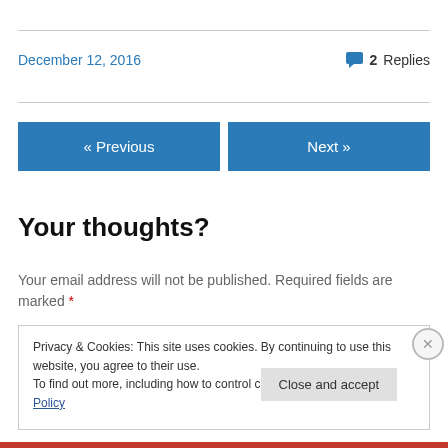December 12, 2016
2 Replies
« Previous
Next »
Your thoughts?
Your email address will not be published. Required fields are marked *
Privacy & Cookies: This site uses cookies. By continuing to use this website, you agree to their use.
To find out more, including how to control cookies, see here: Cookie Policy
Close and accept